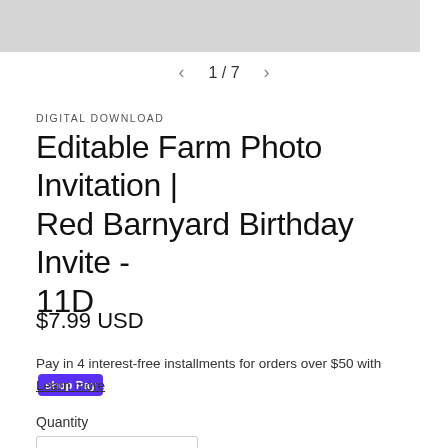[Figure (screenshot): Top portion of a product image preview, shown cropped at the top of the page, grey background]
1 / 7
DIGITAL DOWNLOAD
Editable Farm Photo Invitation | Red Barnyard Birthday Invite - 11D
$7.99 USD
Pay in 4 interest-free installments for orders over $50 with shop Pay
Learn more
Quantity